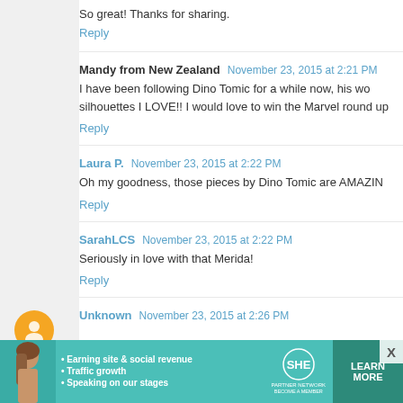So great! Thanks for sharing.
Reply
Mandy from New Zealand  November 23, 2015 at 2:21 PM
I have been following Dino Tomic for a while now, his wo... silhouettes I LOVE!! I would love to win the Marvel round up
Reply
Laura P.  November 23, 2015 at 2:22 PM
Oh my goodness, those pieces by Dino Tomic are AMAZIN...
Reply
SarahLCS  November 23, 2015 at 2:22 PM
Seriously in love with that Merida!
Reply
Unknown  November 23, 2015 at 2:26 PM
[Figure (infographic): SHE Partner Network advertisement banner with woman photo, bullet points about earning site & social revenue, traffic growth, speaking on stages, SHE logo, and LEARN MORE button]